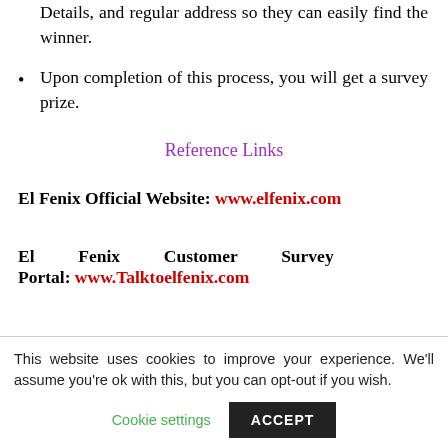Details, and regular address so they can easily find the winner.
Upon completion of this process, you will get a survey prize.
Reference Links
El Fenix Official Website: www.elfenix.com
El Fenix Customer Survey Portal: www.Talktoelfenix.com
This website uses cookies to improve your experience. We'll assume you're ok with this, but you can opt-out if you wish.
Cookie settings   ACCEPT